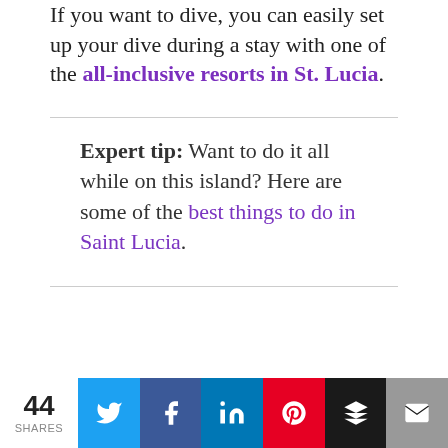If you want to dive, you can easily set up your dive during a stay with one of the all-inclusive resorts in St. Lucia.
Expert tip: Want to do it all while on this island? Here are some of the best things to do in Saint Lucia.
44 SHARES | Twitter | Facebook | LinkedIn | Pinterest | Layers | Email